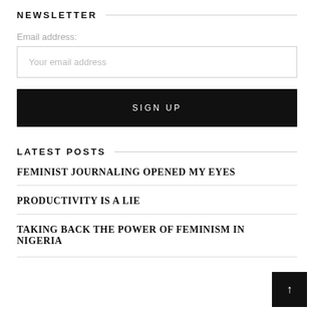NEWSLETTER
Email address:
Your email address
SIGN UP
LATEST POSTS
FEMINIST JOURNALING OPENED MY EYES
PRODUCTIVITY IS A LIE
TAKING BACK THE POWER OF FEMINISM IN NIGERIA